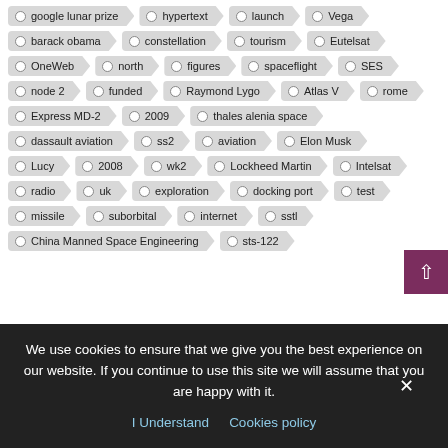google lunar prize, hypertext, launch, Vega
barack obama, constellation, tourism, Eutelsat
OneWeb, north, figures, spaceflight, SES
node 2, funded, Raymond Lygo, Atlas V, rome
Express MD-2, 2009, thales alenia space
dassault aviation, ss2, aviation, Elon Musk
Lucy, 2008, wk2, Lockheed Martin, Intelsat
radio, uk, exploration, docking port, test
missile, suborbital, internet, sstl
China Manned Space Engineering, sts-122
We use cookies to ensure that we give you the best experience on our website. If you continue to use this site we will assume that you are happy with it.
I Understand   Cookies policy